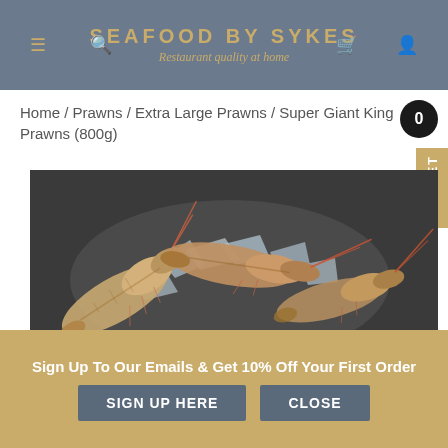SEAFOOD BY SYKES — Restaurant quality at home
Home / Prawns / Extra Large Prawns / Super Giant King Prawns (800g)
[Figure (photo): Three large raw king prawns on crushed ice on a dark slate surface, viewed from above]
Sign Up To Our Emails & Get 10% Off Your First Order
SIGN UP HERE
CLOSE